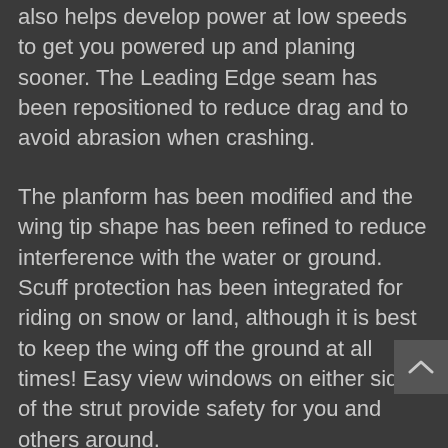also helps develop power at low speeds to get you powered up and planing sooner. The Leading Edge seam has been repositioned to reduce drag and to avoid abrasion when crashing.
The planform has been modified and the wing tip shape has been refined to reduce interference with the water or ground. Scuff protection has been integrated for riding on snow or land, although it is best to keep the wing off the ground at all times! Easy view windows on either side of the strut provide safety for you and others around.
Power Handle positions have been optimised and the design updated to a round ergonomic shape for increased